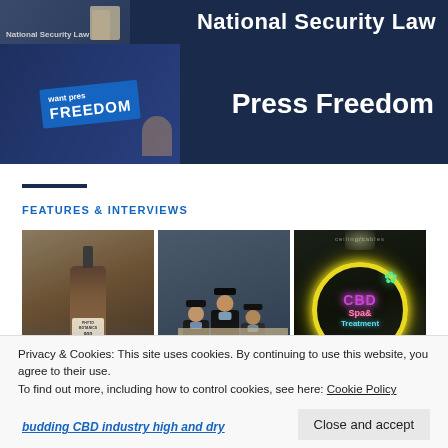[Figure (photo): Banner with photo of people holding National Security Law sign, with title text 'National Security Law' on dark blue background]
[Figure (photo): Banner with photo of person holding sign reading 'want press FREEDOM', with title text 'Press Freedom' on dark blue background]
FEATURES & INTERVIEWS
[Figure (photo): Three images side by side: (1) hand holding amber dropper bottle labeled '900 BOTANIC...'; (2) officers in masks and dark uniforms holding boxes; (3) neon sign reading 'CBD Spa & Treatment']
Privacy & Cookies: This site uses cookies. By continuing to use this website, you agree to their use.
To find out more, including how to control cookies, see here: Cookie Policy
budding CBD industry high and dry